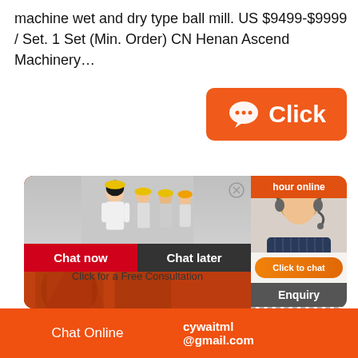machine wet and dry type ball mill. US $9499-$9999 / Set. 1 Set (Min. Order) CN Henan Ascend Machinery…
[Figure (screenshot): Orange click button with chat bubble icon and 'Click' text]
[Figure (screenshot): Live chat popup overlay showing workers with hard hats, woman agent, LIVE CHAT heading, Click for a Free Consultation, Chat now and Chat later buttons, hour online bar, Click to chat button, Enquiry section]
Chat Online
cywaitml @gmail.com